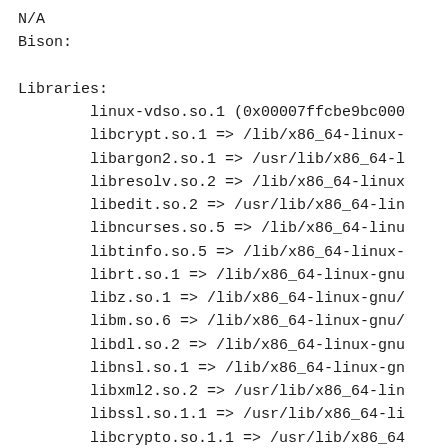N/A
Bison:

Libraries:
        linux-vdso.so.1 (0x00007ffcbe9bc000
        libcrypt.so.1 => /lib/x86_64-linux-
        libargon2.so.1 => /usr/lib/x86_64-l
        libresolv.so.2 => /lib/x86_64-linux
        libedit.so.2 => /usr/lib/x86_64-lin
        libncurses.so.5 => /lib/x86_64-linu
        libtinfo.so.5 => /lib/x86_64-linux-
        librt.so.1 => /lib/x86_64-linux-gnu
        libz.so.1 => /lib/x86_64-linux-gnu/
        libm.so.6 => /lib/x86_64-linux-gnu/
        libdl.so.2 => /lib/x86_64-linux-gnu
        libnsl.so.1 => /lib/x86_64-linux-gn
        libxml2.so.2 => /usr/lib/x86_64-lin
        libssl.so.1.1 => /usr/lib/x86_64-li
        libcrypto.so.1.1 => /usr/lib/x86_64